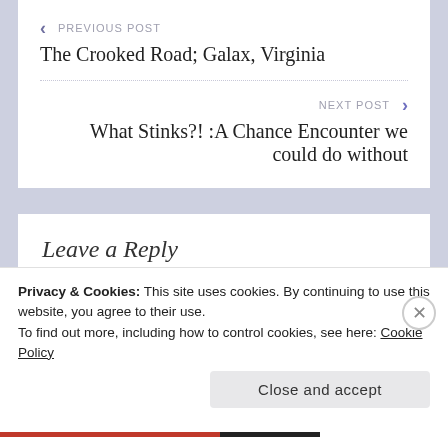PREVIOUS POST
The Crooked Road; Galax, Virginia
NEXT POST
What Stinks?! :A Chance Encounter we could do without
Leave a Reply
Your email address will not be published. Required
Privacy & Cookies: This site uses cookies. By continuing to use this website, you agree to their use.
To find out more, including how to control cookies, see here: Cookie Policy
Close and accept